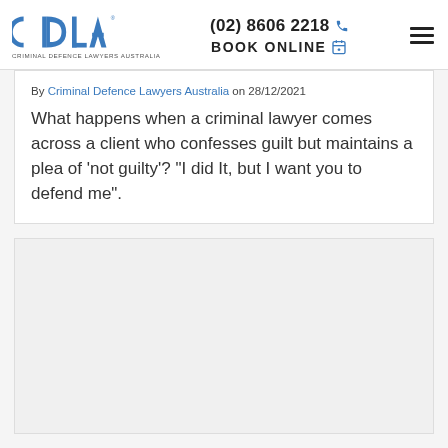CDLA — Criminal Defence Lawyers Australia | (02) 8606 2218 | BOOK ONLINE
By Criminal Defence Lawyers Australia on 28/12/2021
What happens when a criminal lawyer comes across a client who confesses guilt but maintains a plea of 'not guilty'? "I did It, but I want you to defend me".
[Figure (other): Empty gray content card/placeholder area]